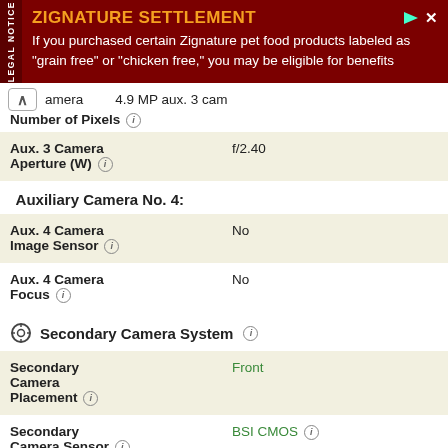[Figure (other): Legal notice advertisement banner for Zignature Settlement. Dark red background with orange title 'ZIGNATURE SETTLEMENT' and white body text: 'If you purchased certain Zignature pet food products labeled as "grain free" or "chicken free," you may be eligible for benefits']
camera   4.9 MP aux. 3 cam
Number of Pixels ℹ
| Aux. 3 Camera Aperture (W) ℹ | f/2.40 |
| Auxiliary Camera No. 4: |  |
| Aux. 4 Camera Image Sensor ℹ | No |
| Aux. 4 Camera Focus ℹ | No |
Secondary Camera System ℹ
| Secondary Camera Placement ℹ | Front |
| Secondary Camera Sensor ℹ | BSI CMOS ℹ |